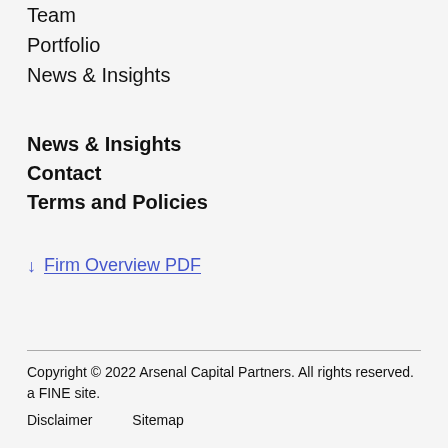Team
Portfolio
News & Insights
News & Insights
Contact
Terms and Policies
↓ Firm Overview PDF
Copyright © 2022 Arsenal Capital Partners. All rights reserved.  a FINE site.
Disclaimer    Sitemap